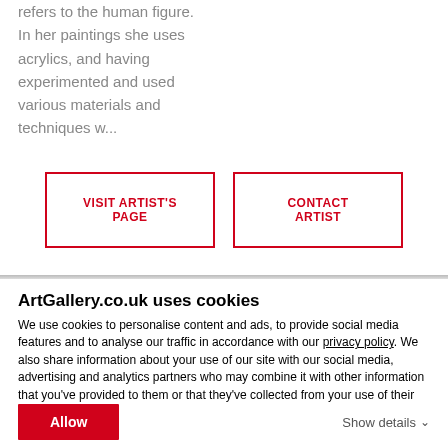refers to the human figure. In her paintings she uses acrylics, and having experimented and used various materials and techniques w...
VISIT ARTIST'S PAGE
CONTACT ARTIST
ArtGallery.co.uk uses cookies
We use cookies to personalise content and ads, to provide social media features and to analyse our traffic in accordance with our privacy policy. We also share information about your use of our site with our social media, advertising and analytics partners who may combine it with other information that you've provided to them or that they've collected from your use of their services.
Allow
Show details